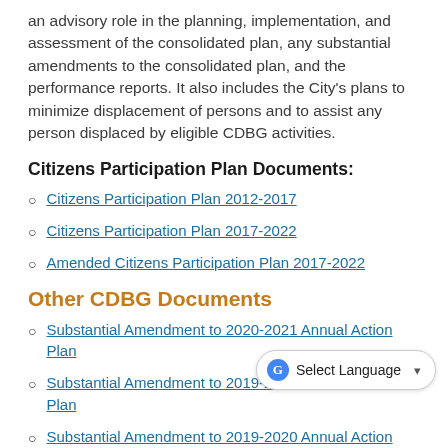an advisory role in the planning, implementation, and assessment of the consolidated plan, any substantial amendments to the consolidated plan, and the performance reports. It also includes the City's plans to minimize displacement of persons and to assist any person displaced by eligible CDBG activities.
Citizens Participation Plan Documents:
Citizens Participation Plan 2012-2017
Citizens Participation Plan 2017-2022
Amended Citizens Participation Plan 2017-2022
Other CDBG Documents
Substantial Amendment to 2020-2021 Annual Action Plan
Substantial Amendment to 2019-2020 Annual Action Plan
Substantial Amendment to 2019-2020 Annual Action Plan